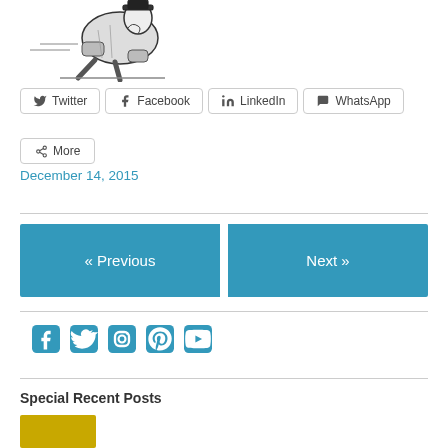[Figure (illustration): Black and white vintage illustration of a person in a coat crouching or leaning forward]
Twitter
Facebook
LinkedIn
WhatsApp
More
December 14, 2015
« Previous
Next »
[Figure (infographic): Social media icons row: Facebook, Twitter, Instagram, Pinterest, YouTube in teal/blue color]
Special Recent Posts